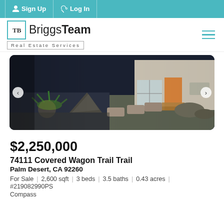Sign Up | Log In
[Figure (logo): BriggsTeam Real Estate Services logo with teal square icon]
[Figure (photo): Exterior photo of a modern desert home with stone landscaping, stepping stones, succulents, and glass entryway]
$2,250,000
74111 Covered Wagon Trail Trail
Palm Desert, CA 92260
For Sale | 2,600 sqft | 3 beds | 3.5 baths | 0.43 acres | #219082990PS
Compass